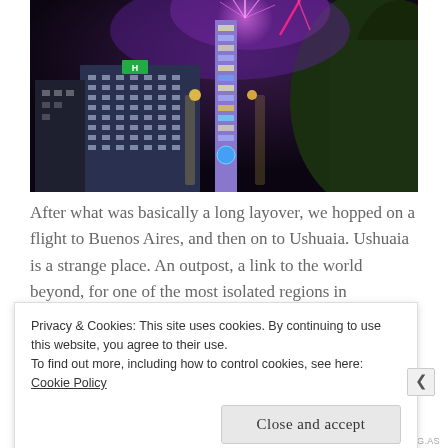[Figure (photo): Night aerial photograph of city buildings with fireworks and neon lights. A tall illuminated tower/pylon in the center with a multi-story hotel building to the left and dark green foliage on the right. Purple/pink fireworks burst above in the dark sky.]
After what was basically a long layover, we hopped on a flight to Buenos Aires, and then on to Ushuaia. Ushuaia is a strange place. An outpost, a link to the world beyond, for one of the most isolated regions in
Privacy & Cookies: This site uses cookies. By continuing to use this website, you agree to their use.
To find out more, including how to control cookies, see here: Cookie Policy
Close and accept
REDIRECTING.AS